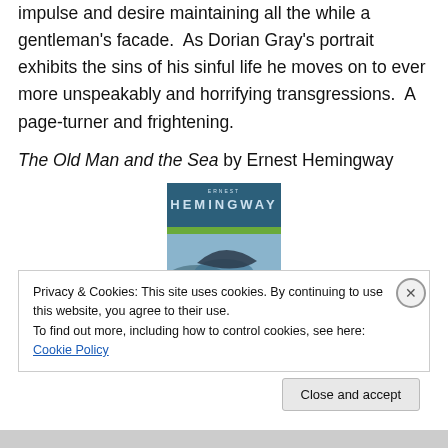impulse and desire maintaining all the while a gentleman's facade.  As Dorian Gray's portrait exhibits the sins of his sinful life he moves on to ever more unspeakably and horrifying transgressions.  A page-turner and frightening.
The Old Man and the Sea by Ernest Hemingway
[Figure (illustration): Book cover of The Old Man and the Sea by Ernest Hemingway, showing a man on a boat amid stormy ocean waves with a large dark fish, with 'The Old Man and the Sea' text on the cover]
Privacy & Cookies: This site uses cookies. By continuing to use this website, you agree to their use.
To find out more, including how to control cookies, see here: Cookie Policy
Close and accept